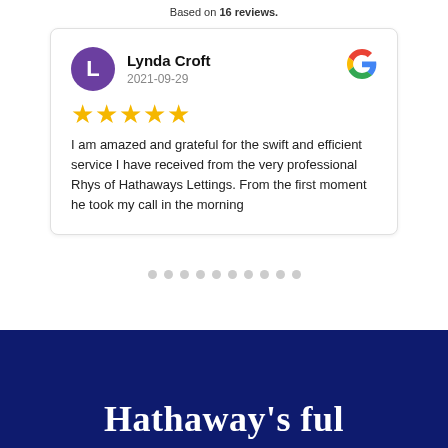Based on 16 reviews.
Lynda Croft
2021-09-29
★★★★★
I am amazed and grateful for the swift and efficient service I have received from the very professional Rhys of Hathaways Lettings. From the first moment he took my call in the morning
Hathaway's full